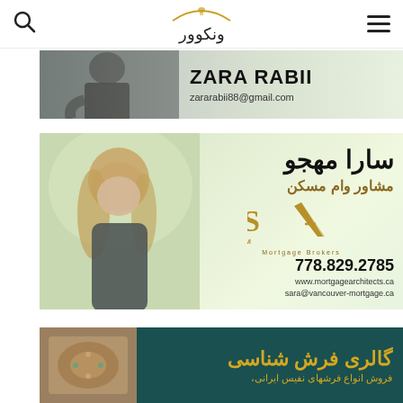Vancouver Persian news site header with search icon, logo, and hamburger menu
[Figure (photo): Advertisement banner for Zara Rabii showing a woman in dark clothing, her name ZARA RABII in large bold text, email zararabii88@gmail.com on a light green/gray background]
[Figure (photo): Advertisement for Sara Khorram Mortgage Brokers showing Sara Mahjo (سارا مهجو), title مشاور وام مسکن (mortgage consultant), SA logo, phone 778.829.2785, websites www.mortgagearchitects.ca and sara@vancouver-mortgage.ca, on a light green background]
[Figure (photo): Advertisement for گالری فرش شناسی (Carpet Gallery) on a teal/dark green background with gold Persian text, subtitle فروش انواع فرشهای نفیس ایرانی]